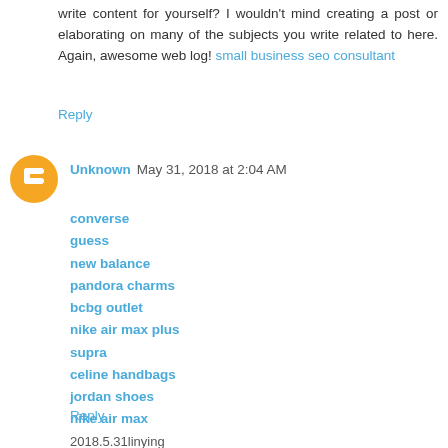write content for yourself? I wouldn't mind creating a post or elaborating on many of the subjects you write related to here. Again, awesome web log! small business seo consultant
Reply
Unknown  May 31, 2018 at 2:04 AM
converse
guess
new balance
pandora charms
bcbg outlet
nike air max plus
supra
celine handbags
jordan shoes
nike air max
2018.5.31linying
Reply